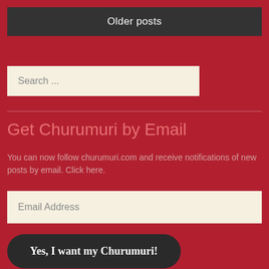Older posts
Search ...
Get Churumuri by Email
You can now follow churumuri.com and receive notifications of new posts by email. Click here.
Email Address
Yes, I want my Churumuri!